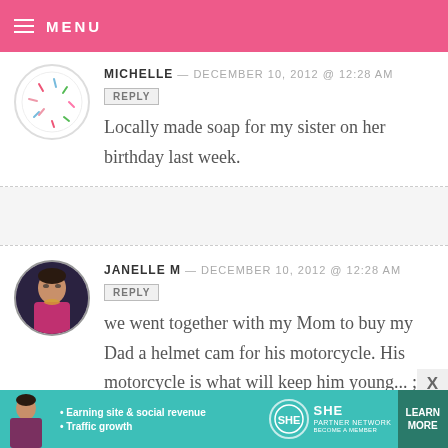MENU
MICHELLE — DECEMBER 10, 2012 @ 12:28 AM
REPLY
Locally made soap for my sister on her birthday last week.
JANELLE M — DECEMBER 10, 2012 @ 12:28 AM
REPLY
we went together with my Mom to buy my Dad a helmet cam for his motorcycle. His motorcycle is what will keep him young... ;)
[Figure (infographic): SHE Partner Network advertisement banner: Earning site & social revenue, Traffic growth, LEARN MORE button]